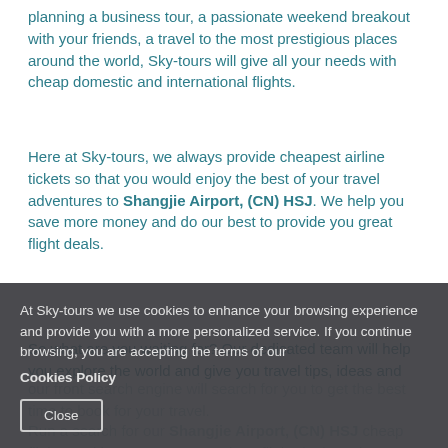planning a business tour, a passionate weekend breakout with your friends, a travel to the most prestigious places around the world, Sky-tours will give all your needs with cheap domestic and international flights.
Here at Sky-tours, we always provide cheapest airline tickets so that you would enjoy the best of your travel adventures to Shangjie Airport, (CN) HSJ. We help you save more money and do our best to provide you great flight deals.
So what are you waiting for? Our dedicated team will help you explore the world and give you travel tips, ideas and
At Sky-tours we use cookies to enhance your browsing experience and provide you with a more personalized service. If you continue browsing, you are accepting the terms of our Cookies Policy